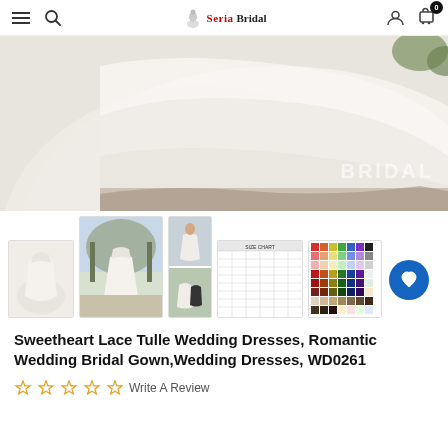SeriaBrisal — navigation bar with hamburger, search, logo, user, cart icons
[Figure (photo): Close-up photo of a white tulle wedding dress skirt spread on the ground outdoors, with watermark text 'BRIDAL' visible in lower right]
[Figure (photo): Thumbnail 1: Wedding dress laid flat, white ballgown silhouette]
[Figure (photo): Thumbnail 2: Bride wearing sweetheart lace tulle ballgown in outdoor setting]
[Figure (photo): Thumbnail 3: Two smaller photos combined — bride alone and couple (bride and groom)]
[Figure (table-as-image): Thumbnail 4: Size chart table with measurements]
[Figure (photo): Thumbnail 5: Color swatch chart showing various fabric colors]
Sweetheart Lace Tulle Wedding Dresses, Romantic Wedding Bridal Gown,Wedding Dresses, WD0261
Write A Review